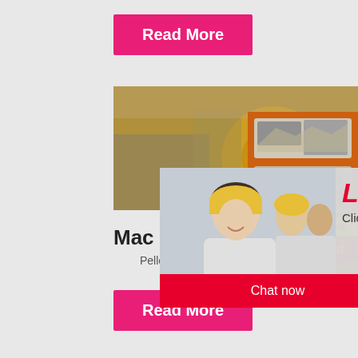Read More
[Figure (photo): Industrial machinery with yellow equipment]
Pellet
[Figure (screenshot): Live chat popup with worker in hard hat, LIVE CHAT heading, Chat now and Chat later buttons]
Mac
Pellet making machine is designed to ma
[Figure (photo): Right sidebar with industrial machine images, Enjoy 3% discount, Click to Chat, Enquiry, limingjlmofen@sina.com]
Read More